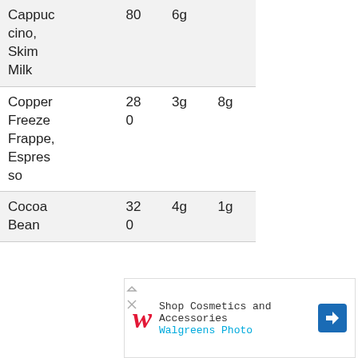| Cappuc
cino,
Skim
Milk | 80 | 6g |  |
| Copper
Freeze
Frappe,
Espres
so | 28
0 | 3g | 8g |
| Cocoa
Bean | 32
0 | 4g | 1g |
[Figure (other): Walgreens Photo advertisement: Shop Cosmetics and Accessories]